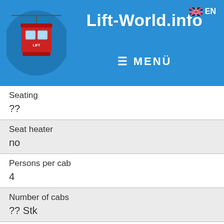Lift-World.info  ≡ MENÜ  EN
| Field | Value |
| --- | --- |
| Seating | ?? |
| Seat heater | no |
| Persons per cab | 4 |
| Number of cabs | ?? Stk |
| Cab distance | ?? m |
| Cab interval | ?? s |